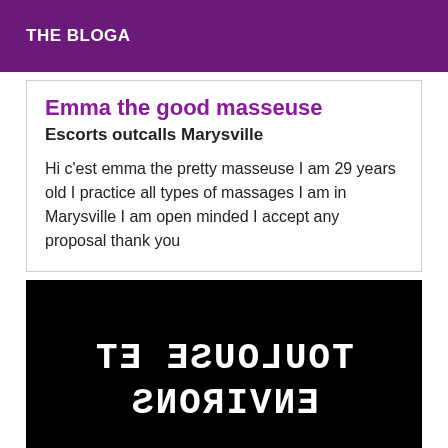THE BLOGA
Emma the good masseuse
Escorts outcalls Marysville
Hi c'est emma the pretty masseuse I am 29 years old I practice all types of massages I am in Marysville I am open minded I accept any proposal thank you
[Figure (photo): Black background image with mirrored white text reading 'TOULOUSE ET ENVIRONS']